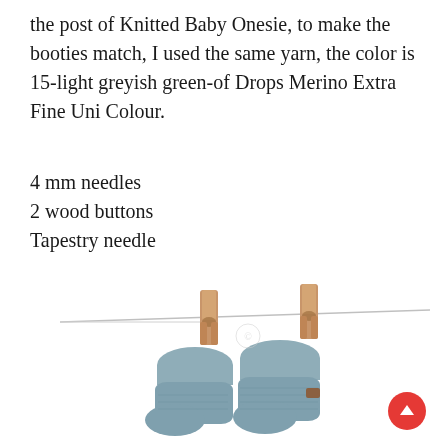the post of Knitted Baby Onesie, to make the booties match, I used the same yarn, the color is 15-light greyish green-of Drops Merino Extra Fine Uni Colour.
4 mm needles
2 wood buttons
Tapestry needle
[Figure (photo): Two light blue-grey knitted baby booties hanging from a clothesline by two wooden clothespins against a white background.]